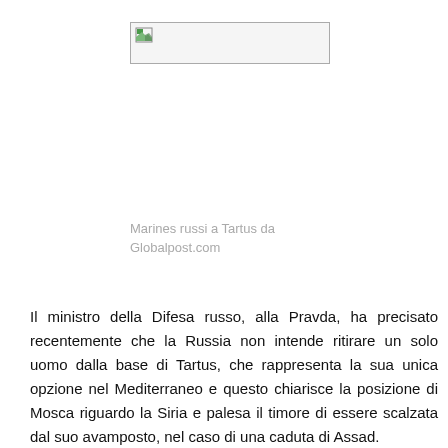[Figure (photo): Broken/unloaded image placeholder showing a small image icon in the top-left corner of a bordered rectangle]
Marines russi a Tartus da Globalpost.com
Il ministro della Difesa russo, alla Pravda, ha precisato recentemente che la Russia non intende ritirare un solo uomo dalla base di Tartus, che rappresenta la sua unica opzione nel Mediterraneo e questo chiarisce la posizione di Mosca riguardo la Siria e palesa il timore di essere scalzata dal suo avamposto, nel caso di una caduta di Assad.